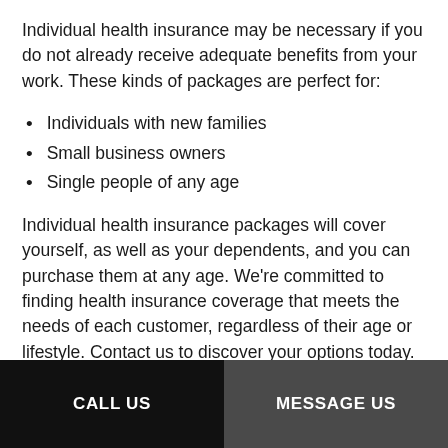Individual health insurance may be necessary if you do not already receive adequate benefits from your work. These kinds of packages are perfect for:
Individuals with new families
Small business owners
Single people of any age
Individual health insurance packages will cover yourself, as well as your dependents, and you can purchase them at any age. We're committed to finding health insurance coverage that meets the needs of each customer, regardless of their age or lifestyle. Contact us to discover your options today.
CALL US | MESSAGE US